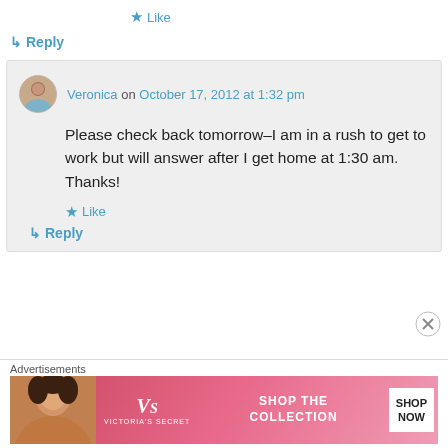★ Like
↳ Reply
Veronica on October 17, 2012 at 1:32 pm
Please check back tomorrow–I am in a rush to get to work but will answer after I get home at 1:30 am. Thanks!
★ Like
↳ Reply
Advertisements
[Figure (photo): Victoria's Secret advertisement banner with model and 'Shop The Collection / Shop Now' call-to-action]